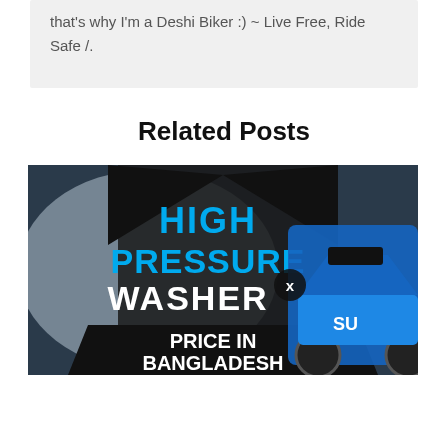that's why I'm a Deshi Biker :) ~ Live Free, Ride Safe /.
Related Posts
[Figure (photo): Advertisement banner showing 'HIGH PRESSURE WASHER PRICE IN BANGLADESH' text overlaid on a dark background with a blue Suzuki motorcycle on the right side. A circular close button with 'x' is visible in the center.]